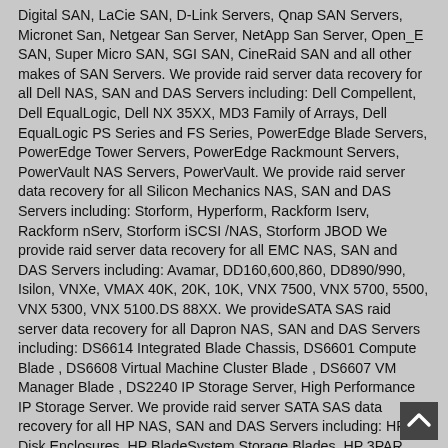Digital SAN, LaCie SAN, D-Link Servers, Qnap SAN Servers, Micronet San, Netgear San Server, NetApp San Server, Open_E SAN, Super Micro SAN, SGI SAN, CineRaid SAN and all other makes of SAN Servers. We provide raid server data recovery for all Dell NAS, SAN and DAS Servers including: Dell Compellent, Dell EqualLogic, Dell NX 35XX, MD3 Family of Arrays, Dell EqualLogic PS Series and FS Series, PowerEdge Blade Servers, PowerEdge Tower Servers, PowerEdge Rackmount Servers, PowerVault NAS Servers, PowerVault. We provide raid server data recovery for all Silicon Mechanics NAS, SAN and DAS Servers including: Storform, Hyperform, Rackform Iserv, Rackform nServ, Storform iSCSI /NAS, Storform JBOD We provide raid server data recovery for all EMC NAS, SAN and DAS Servers including: Avamar, DD160,600,860, DD890/990, Isilon, VNXe, VMAX 40K, 20K, 10K, VNX 7500, VNX 5700, 5500, VNX 5300, VNX 5100.DS 88XX. We provideSATA SAS raid server data recovery for all Dapron NAS, SAN and DAS Servers including: DS6614 Integrated Blade Chassis, DS6601 Compute Blade , DS6608 Virtual Machine Cluster Blade , DS6607 VM Manager Blade , DS2240 IP Storage Server, High Performance IP Storage Server. We provide raid server SATA SAS data recovery for all HP NAS, SAN and DAS Servers including: HP Disk Enclosures, HP BladeSystem Storage Blades, HP 3PAR StoreServ 10000 Storage, HP 3PAR StoreServ 7000 Storage, HP 3PAR StoreServ 7450 Storage, HP StoreEasy 1000 Storage, HP StoreEasy 3000 Gateway HP StoreEasy 5000 Storage,HP XP 9000 Storage, HP EVA 6000 Storage,HP StoreVirtual 4000 Storage, HP MSA P2000 Storage, HP MSA 2040 Storage, HP StoreOnce 2620 iSCSI Backup, HP StoreOnce 2700 Backup, HP StoreOnce 4210